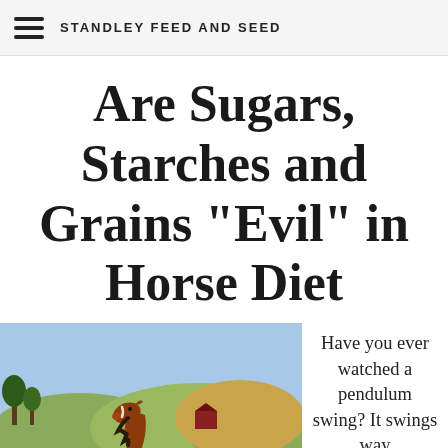STANDLEY FEED AND SEED
Are Sugars, Starches and Grains "Evil" in Horse Diet
[Figure (photo): A chestnut horse galloping in a green pastoral field with rolling hills, trees, and a barn in the background.]
Have you ever watched a pendulum swing? It swings way